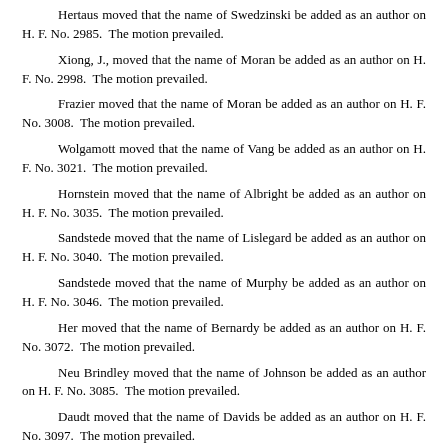Hertaus moved that the name of Swedzinski be added as an author on H. F. No. 2985. The motion prevailed.
Xiong, J., moved that the name of Moran be added as an author on H. F. No. 2998. The motion prevailed.
Frazier moved that the name of Moran be added as an author on H. F. No. 3008. The motion prevailed.
Wolgamott moved that the name of Vang be added as an author on H. F. No. 3021. The motion prevailed.
Hornstein moved that the name of Albright be added as an author on H. F. No. 3035. The motion prevailed.
Sandstede moved that the name of Lislegard be added as an author on H. F. No. 3040. The motion prevailed.
Sandstede moved that the name of Murphy be added as an author on H. F. No. 3046. The motion prevailed.
Her moved that the name of Bernardy be added as an author on H. F. No. 3072. The motion prevailed.
Neu Brindley moved that the name of Johnson be added as an author on H. F. No. 3085. The motion prevailed.
Daudt moved that the name of Davids be added as an author on H. F. No. 3097. The motion prevailed.
Miller moved that the name of O'Neill be added as an author on H. F. No. 3120. The motion prevailed.